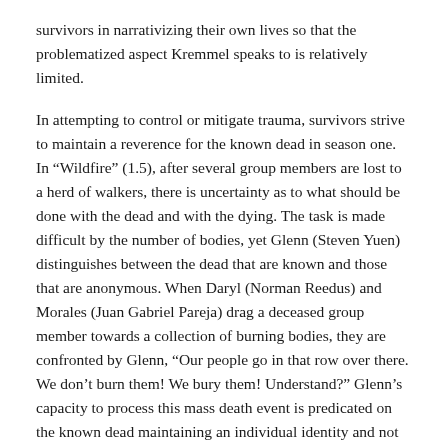survivors in narrativizing their own lives so that the problematized aspect Kremmel speaks to is relatively limited.
In attempting to control or mitigate trauma, survivors strive to maintain a reverence for the known dead in season one. In “Wildfire” (1.5), after several group members are lost to a herd of walkers, there is uncertainty as to what should be done with the dead and with the dying. The task is made difficult by the number of bodies, yet Glenn (Steven Yuen) distinguishes between the dead that are known and those that are anonymous. When Daryl (Norman Reedus) and Morales (Juan Gabriel Pareja) drag a deceased group member towards a collection of burning bodies, they are confronted by Glenn, “Our people go in that row over there. We don’t burn them! We bury them! Understand?” Glenn’s capacity to process this mass death event is predicated on the known dead maintaining an individual identity and not being homogenized. Glenn is also trying to maintain a reverence for life so emplotment remains a possibility. Later, when Daryl questions the value of the burials given that he, along with Rick and Shane (Jon Bernthal), are